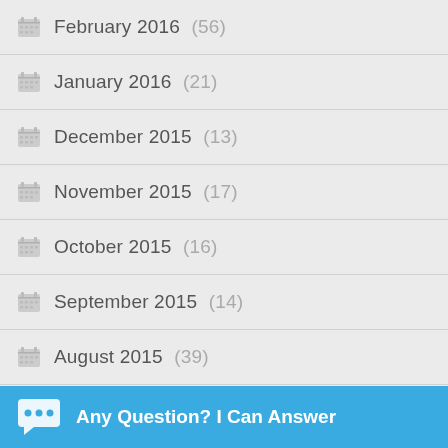February 2016 (56)
January 2016 (21)
December 2015 (13)
November 2015 (17)
October 2015 (16)
September 2015 (14)
August 2015 (39)
July 2015 (41)
June 2015 (21)
Any Question? I Can Answer